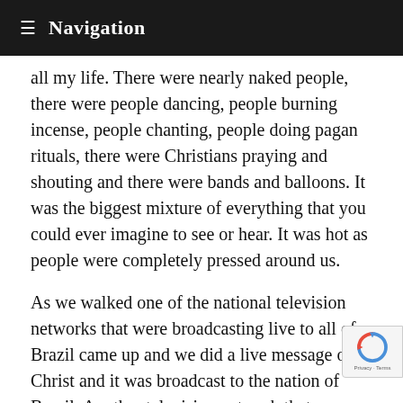≡ Navigation
all my life. There were nearly naked people, there were people dancing, people burning incense, people chanting, people doing pagan rituals, there were Christians praying and shouting and there were bands and balloons. It was the biggest mixture of everything that you could ever imagine to see or hear. It was hot as people were completely pressed around us.
As we walked one of the national television networks that were broadcasting live to all of Brazil came up and we did a live message of Christ and it was broadcast to the nation of Brazil. Another television network that covers all of Brazil also filmed a program that was shown the next day. All of the major newspapers out there, it was just a one night witness to the entire